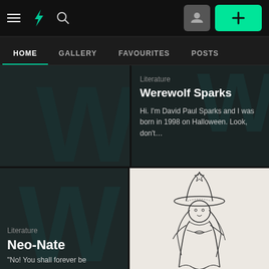DeviantArt navigation bar with hamburger menu, DA logo, search icon, user avatar button, and + button
HOME | GALLERY | FAVOURITES | POSTS
[Figure (screenshot): Dark card with large stylized W background logo in teal]
Literature
Werewolf Sparks
Hi. I'm David Paul Sparks and I was born in 1998 on Halloween. Look, don't...
Literature
Neo-Nate
"No! You shall forever be
[Figure (illustration): Pencil sketch of a witch character with a tall hat and flowing dress]